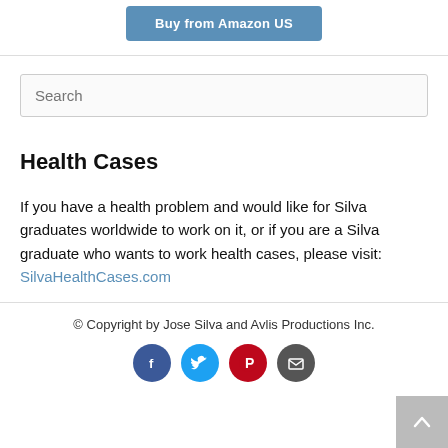[Figure (other): Blue button labeled 'Buy from Amazon US']
[Figure (other): Search input box with placeholder text 'Search']
Health Cases
If you have a health problem and would like for Silva graduates worldwide to work on it, or if you are a Silva graduate who wants to work health cases, please visit: SilvaHealthCases.com
© Copyright by Jose Silva and Avlis Productions Inc.
[Figure (other): Social media icons: Facebook, Twitter, Pinterest, Email]
[Figure (other): Back to top button with upward chevron]